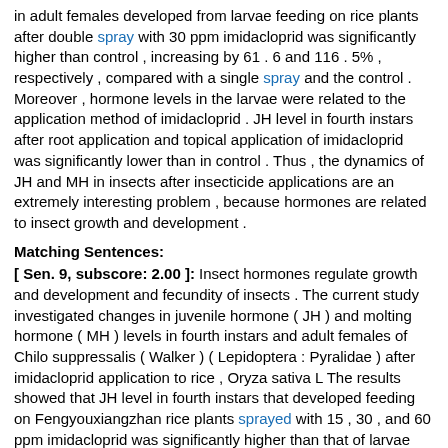in adult females developed from larvae feeding on rice plants after double spray with 30 ppm imidacloprid was significantly higher than control , increasing by 61 . 6 and 116 . 5% , respectively , compared with a single spray and the control . Moreover , hormone levels in the larvae were related to the application method of imidacloprid . JH level in fourth instars after root application and topical application of imidacloprid was significantly lower than in control . Thus , the dynamics of JH and MH in insects after insecticide applications are an extremely interesting problem , because hormones are related to insect growth and development .
Matching Sentences:
[ Sen. 9, subscore: 2.00 ]: Insect hormones regulate growth and development and fecundity of insects . The current study investigated changes in juvenile hormone ( JH ) and molting hormone ( MH ) levels in fourth instars and adult females of Chilo suppressalis ( Walker ) ( Lepidoptera : Pyralidae ) after imidacloprid application to rice , Oryza sativa L The results showed that JH level in fourth instars that developed feeding on Fengyouxiangzhan rice plants sprayed with 15 , 30 , and 60 ppm imidacloprid was significantly higher than that of larvae that developed on control plants , increasing by 5 . 04 , 6 . 39 , and 4 . 89 times , respectively . The relationships between JH level and imidacloprid concentrations showed a significant negative correlation . In contrast , molting hormone ( MH ) level in larvae fed on control plants was significantly higher than that on treated plants . JH : MH values in fourth instars developed from larvae feeding on rice plants treated with 15 , 30 , 60 , 80 , and 100 ppm imidacloprid increased by 49 . 17 , 39 . 43 , 13 . 48 , 15 . 80 , and 0 . 2 times , respectively , compared with control . JH and JH : MH ratio in larvae fed on Wujing 15 plants treated with imidacloprid were significantly lower than those fed on Fengyouxiangzhan under the same treatments . JH level in adult